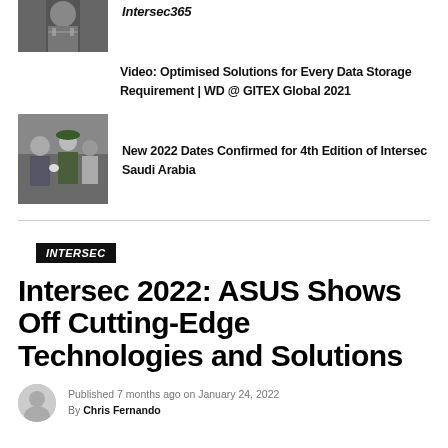[Figure (photo): Partial black and white photo of a military figure, cropped at top]
Intersec365
Video: Optimised Solutions for Every Data Storage Requirement | WD @ GITEX Global 2021
[Figure (photo): Photo of military officials at an event, one in green beret]
New 2022 Dates Confirmed for 4th Edition of Intersec Saudi Arabia
INTERSEC
Intersec 2022: ASUS Shows Off Cutting-Edge Technologies and Solutions
Published 7 months ago on January 24, 2022
By Chris Fernando